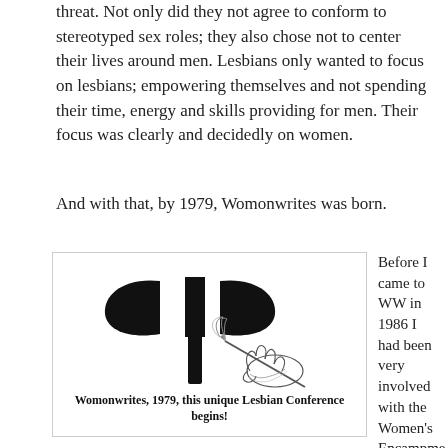threat. Not only did they not agree to conform to stereotyped sex roles; they also chose not to center their lives around men. Lesbians only wanted to focus on lesbians; empowering themselves and not spending their time, energy and skills providing for men. Their focus was clearly and decidedly on women.
And with that, by 1979, Womonwrites was born.
[Figure (illustration): Black and white illustration: a labrys (double-headed axe) symbol above a hand holding a quill pen, with caption text 'Womonwrites, 1979, this unique Lesbian Conference begins!']
Before I came to WW in 1986 I had been very involved with the Women’s Encampment for a